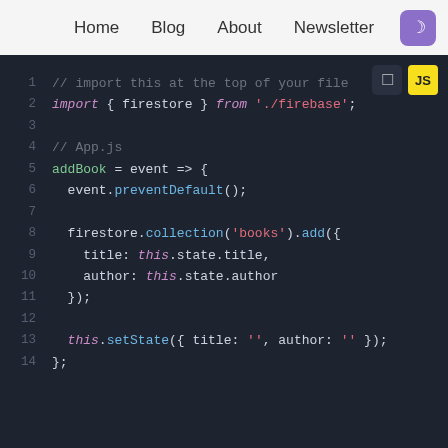Home  Blog  About  Newsletter
[Figure (screenshot): JavaScript code snippet showing firestore addBook function with import, collection add, and setState calls, displayed in a dark-themed code editor with line numbers 1-14.]